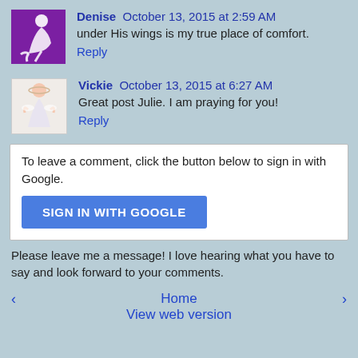[Figure (illustration): Purple silhouette of a person kneeling/praying, avatar for user Denise]
Denise  October 13, 2015 at 2:59 AM
under His wings is my true place of comfort.
Reply
[Figure (illustration): Illustration of a girl/angel figure in white dress, avatar for user Vickie]
Vickie  October 13, 2015 at 6:27 AM
Great post Julie. I am praying for you!
Reply
To leave a comment, click the button below to sign in with Google.
SIGN IN WITH GOOGLE
Please leave me a message! I love hearing what you have to say and look forward to your comments.
‹
Home
›
View web version